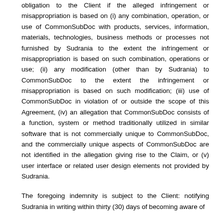obligation to the Client if the alleged infringement or misappropriation is based on (i) any combination, operation, or use of CommonSubDoc with products, services, information, materials, technologies, business methods or processes not furnished by Sudrania to the extent the infringement or misappropriation is based on such combination, operations or use; (ii) any modification (other than by Sudrania) to CommonSubDoc to the extent the infringement or misappropriation is based on such modification; (iii) use of CommonSubDoc in violation of or outside the scope of this Agreement, (iv) an allegation that CommonSubDoc consists of a function, system or method traditionally utilized in similar software that is not commercially unique to CommonSubDoc, and the commercially unique aspects of CommonSubDoc are not identified in the allegation giving rise to the Claim, or (v) user interface or related user design elements not provided by Sudrania.
The foregoing indemnity is subject to the Client: notifying Sudrania in writing within thirty (30) days of becoming aware of